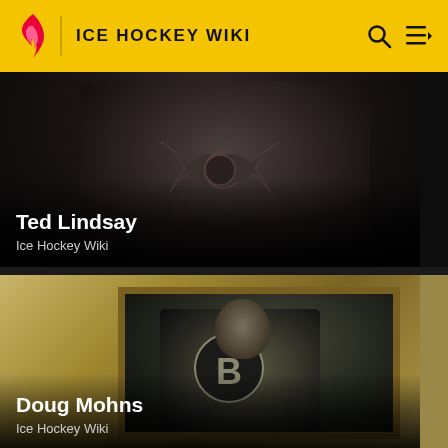ICE HOCKEY WIKI
[Figure (photo): Dark photo of Ted Lindsay in Detroit Red Wings jersey with partial Red Wings logo visible on chest]
Ted Lindsay
Ice Hockey Wiki
[Figure (photo): Vintage black and white photo of Doug Mohns in Boston Bruins jersey with large B logo on chest, framed in golden/tan border]
Doug Mohns
Ice Hockey Wiki